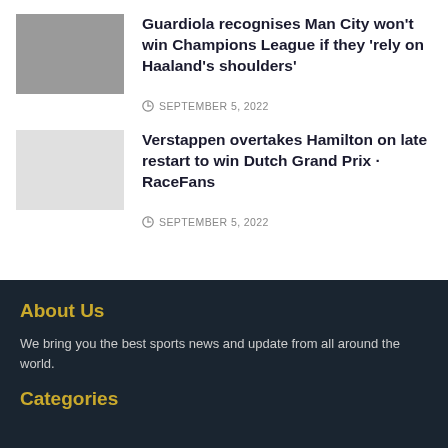Guardiola recognises Man City won’t win Champions League if they ‘rely on Haaland’s shoulders’
SEPTEMBER 5, 2022
Verstappen overtakes Hamilton on late restart to win Dutch Grand Prix · RaceFans
SEPTEMBER 5, 2022
About Us
We bring you the best sports news and update from all around the world.
Categories